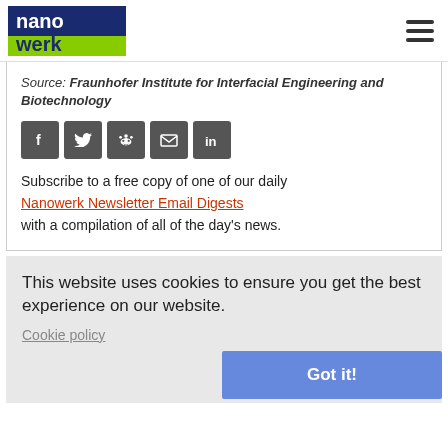nanowerk [logo] [hamburger menu]
Source: Fraunhofer Institute for Interfacial Engineering and Biotechnology
[Figure (other): Social sharing buttons: Facebook, Twitter, Reddit, Email, LinkedIn]
Subscribe to a free copy of one of our daily Nanowerk Newsletter Email Digests with a compilation of all of the day's news.
This website uses cookies to ensure you get the best experience on our website.
Cookie policy
Got it!